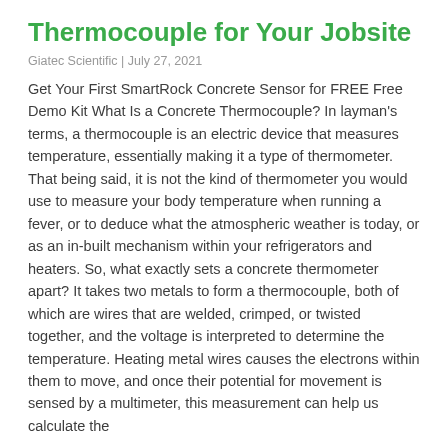Thermocouple for Your Jobsite
Giatec Scientific | July 27, 2021
Get Your First SmartRock Concrete Sensor for FREE Free Demo Kit What Is a Concrete Thermocouple? In layman's terms, a thermocouple is an electric device that measures temperature, essentially making it a type of thermometer. That being said, it is not the kind of thermometer you would use to measure your body temperature when running a fever, or to deduce what the atmospheric weather is today, or as an in-built mechanism within your refrigerators and heaters. So, what exactly sets a concrete thermometer apart? It takes two metals to form a thermocouple, both of which are wires that are welded, crimped, or twisted together, and the voltage is interpreted to determine the temperature. Heating metal wires causes the electrons within them to move, and once their potential for movement is sensed by a multimeter, this measurement can help us calculate the